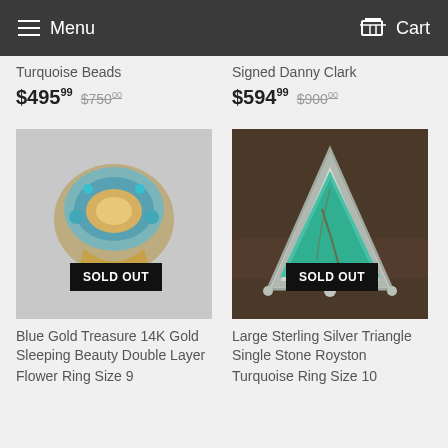Menu  Cart
Turquoise Beads
$495.99  $750.00
Signed Danny Clark
$594.99  $900.00
[Figure (photo): Blue Gold Treasure 14K Gold Sleeping Beauty Double Layer ring with SOLD OUT badge]
[Figure (photo): Large Sterling Silver Triangle Single Stone Royston Turquoise ring with SOLD OUT badge]
Blue Gold Treasure 14K Gold Sleeping Beauty Double Layer Flower Ring Size 9
Large Sterling Silver Triangle Single Stone Royston Turquoise Ring Size 10